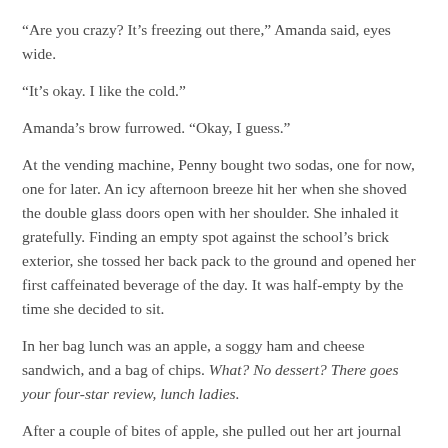“Are you crazy? It’s freezing out there,” Amanda said, eyes wide.
“It’s okay. I like the cold.”
Amanda’s brow furrowed. “Okay, I guess.”
At the vending machine, Penny bought two sodas, one for now, one for later. An icy afternoon breeze hit her when she shoved the double glass doors open with her shoulder. She inhaled it gratefully. Finding an empty spot against the school’s brick exterior, she tossed her back pack to the ground and opened her first caffeinated beverage of the day. It was half-empty by the time she decided to sit.
In her bag lunch was an apple, a soggy ham and cheese sandwich, and a bag of chips. What? No dessert? There goes your four-star review, lunch ladies.
After a couple of bites of apple, she pulled out her art journal and markers. Choosing a black, fine-tipped pen, she let her thoughts wander and her hand doodle whatever came to mind. This was one